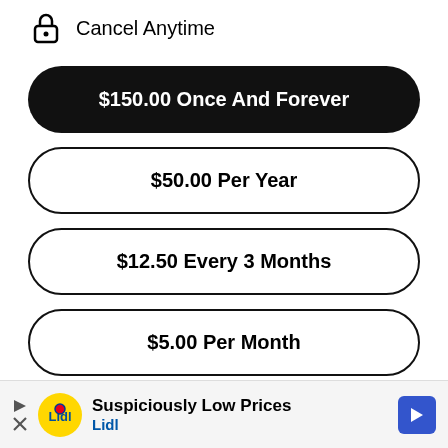Cancel Anytime
$150.00 Once And Forever
$50.00 Per Year
$12.50 Every 3 Months
$5.00 Per Month
Choose your membership or see other ways to help
[Figure (other): Lidl advertisement banner with logo, text 'Suspiciously Low Prices' and 'Lidl', play/close buttons and navigation arrow]